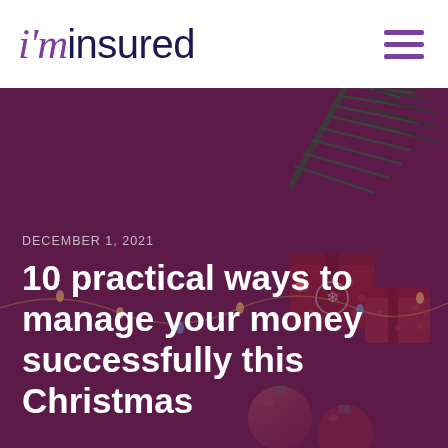i'm insured
[Figure (photo): Christmas-themed background image with dark purple/maroon color, showing pine tree branches in the upper right, wrapped gift boxes with snowflake patterns, red Christmas ornament baubles at the bottom, and string lights]
DECEMBER 1, 2021
10 practical ways to manage your money successfully this Christmas